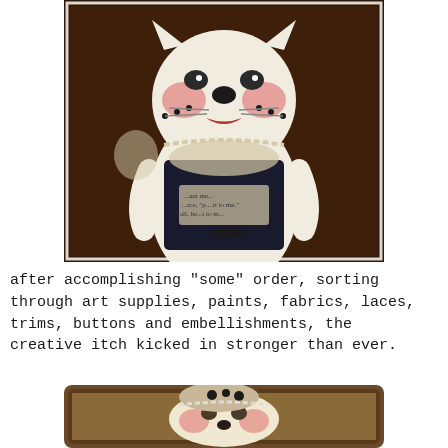[Figure (photo): A handmade cat doll / art doll with a painted white face, pink rosy cheeks, red lips, black whisker dots, wearing a dark outfit with pearl necklace, lace collar, and text collaged onto its body.]
after accomplishing "some" order, sorting through art supplies, paints, fabrics, laces, trims, buttons and embellishments, the creative itch kicked in stronger than ever.
[Figure (photo): A handmade mixed-media animal face (cat/dog-like) with painted features, rosy cheeks, decorative hat or head piece with black spots, displayed on a wooden surface in a tray.]